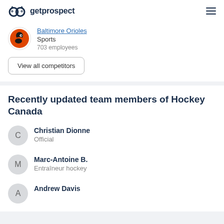getprospect
Baltimore Orioles
Sports
703 employees
View all competitors
Recently updated team members of Hockey Canada
Christian Dionne – Official
Marc-Antoine B. – Entraîneur hockey
Andrew Davis